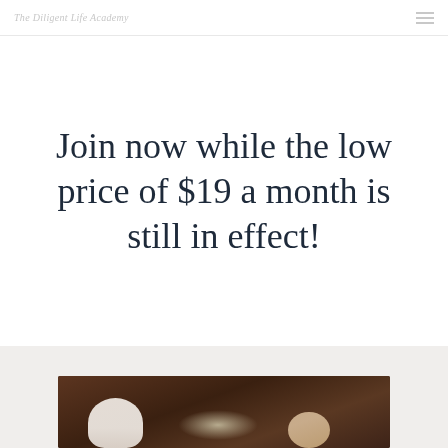The Diligent Life Academy
Join now while the low price of $19 a month is still in effect!
[Figure (photo): Overhead view of a wooden table with white ceramic teapot and cup items, warm tones with a soft light glow in the center]